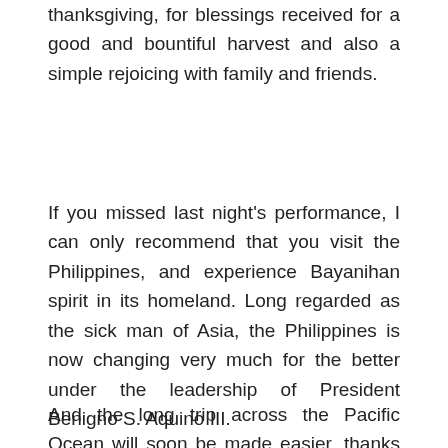thanksgiving, for blessings received for a good and bountiful harvest and also a simple rejoicing with family and friends.
If you missed last night's performance, I can only recommend that you visit the Philippines, and experience Bayanihan spirit in its homeland. Long regarded as the sick man of Asia, the Philippines is now changing very much for the better under the leadership of President Benigno S. Aquino III.
And the long trip across the Pacific Ocean will soon be made easier, thanks to direct flights